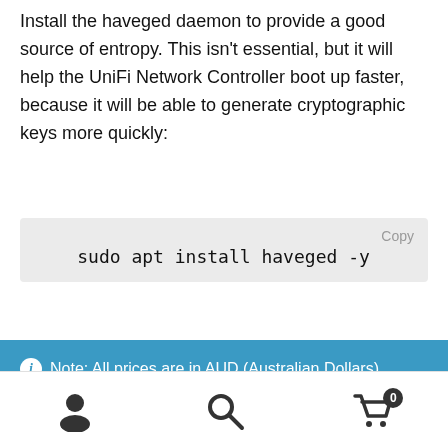Install the haveged daemon to provide a good source of entropy. This isn't essential, but it will help the UniFi Network Controller boot up faster, because it will be able to generate cryptographic keys more quickly:
Install a version of Java that works nicely with the Controller:
Note: All prices are in AUD (Australian Dollars). Dismiss